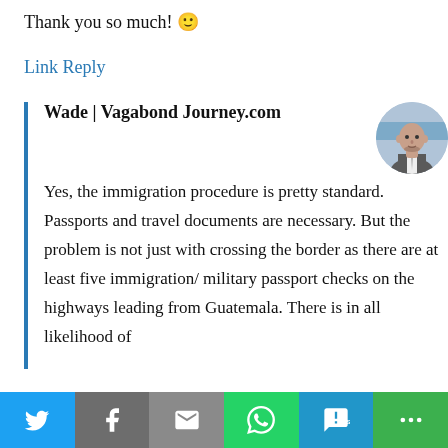Thank you so much! 🙂
Link Reply
Wade | Vagabond Journey.com
Yes, the immigration procedure is pretty standard. Passports and travel documents are necessary. But the problem is not just with crossing the border as there are at least five immigration/ military passport checks on the highways leading from Guatemala. There is in all likelihood of
[Figure (photo): Circular avatar photo of a bald man wearing a grey suit, shown from shoulders up against a blue-toned background.]
[Figure (infographic): Social sharing bar with buttons for Twitter, Facebook, Email, WhatsApp, SMS, and More sharing options.]